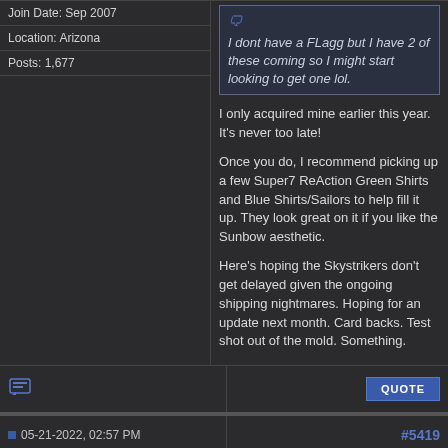Join Date: Sep 2007
Location: Arizona
Posts: 1,677
I dont have a FLagg but I have 2 of these coming so I might start looking to get one lol.
I only acquired mine earlier this year. It's never too late!

Once you do, I recommend picking up a few Super7 ReAction Green Shirts and Blue Shirts/Sailors to help fill it up. They look great on it if you like the Sunbow aesthetic.

Here's hoping the Skystrikers don't get delayed given the ongoing shipping nightmares. Hoping for an update next month. Card backs. Test shot out of the mold. Something.
05-21-2022, 02:57 PM
#5419